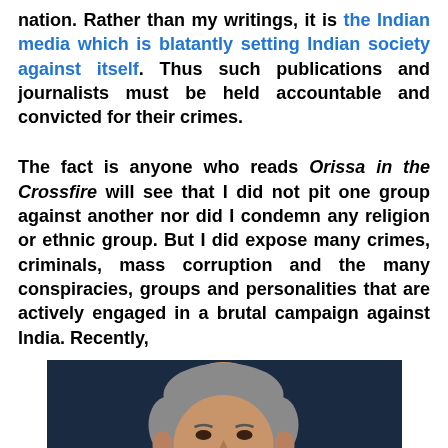nation. Rather than my writings, it is the Indian media which is blatantly setting Indian society against itself. Thus such publications and journalists must be held accountable and convicted for their crimes.
The fact is anyone who reads Orissa in the Crossfire will see that I did not pit one group against another nor did I condemn any religion or ethnic group. But I did expose many crimes, criminals, mass corruption and the many conspiracies, groups and personalities that are actively engaged in a brutal campaign against India. Recently,
[Figure (photo): A photograph of an older man, partially visible from the shoulders up, against a dark blue background. The man appears to be of South Asian descent with grey hair.]